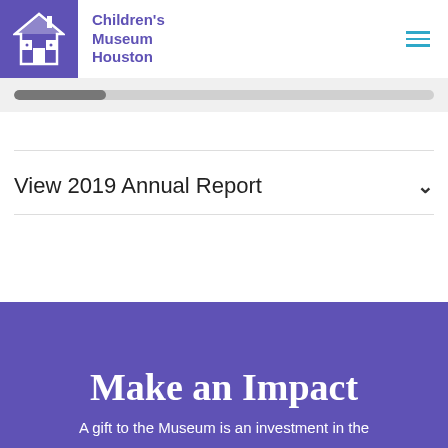Children's Museum Houston
[Figure (other): Children's Museum Houston logo — white house icon on purple background]
View 2019 Annual Report
Make an Impact
A gift to the Museum is an investment in the